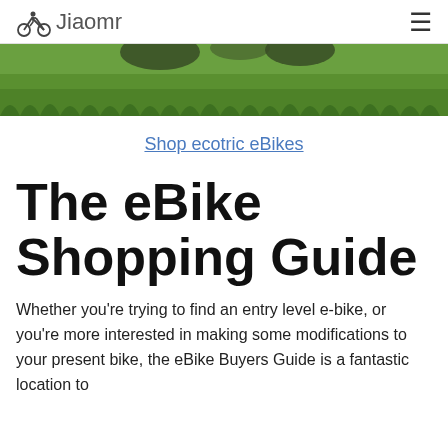Jiaomr
[Figure (photo): Close-up photo of green grass with bicycle wheels visible at the top]
Shop ecotric eBikes
The eBike Shopping Guide
Whether you're trying to find an entry level e-bike, or you're more interested in making some modifications to your present bike, the eBike Buyers Guide is a fantastic location to